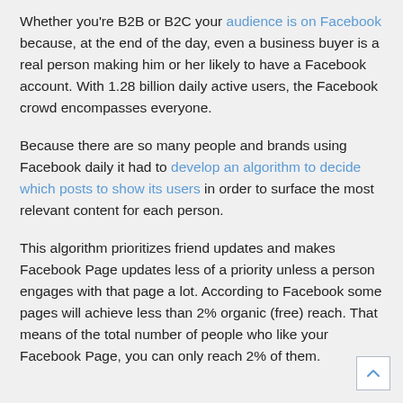Whether you're B2B or B2C your audience is on Facebook because, at the end of the day, even a business buyer is a real person making him or her likely to have a Facebook account. With 1.28 billion daily active users, the Facebook crowd encompasses everyone.
Because there are so many people and brands using Facebook daily it had to develop an algorithm to decide which posts to show its users in order to surface the most relevant content for each person.
This algorithm prioritizes friend updates and makes Facebook Page updates less of a priority unless a person engages with that page a lot. According to Facebook some pages will achieve less than 2% organic (free) reach. That means of the total number of people who like your Facebook Page, you can only reach 2% of them.